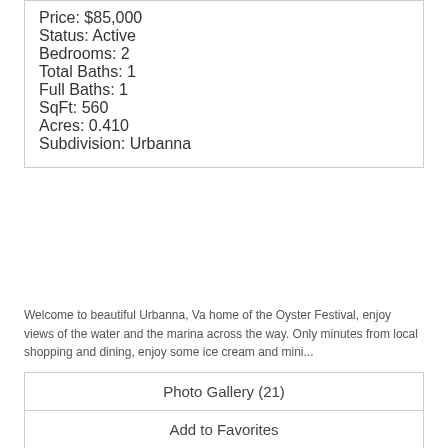Price: $85,000
Status: Active
Bedrooms: 2
Total Baths: 1
Full Baths: 1
SqFt: 560
Acres: 0.410
Subdivision: Urbanna
Welcome to beautiful Urbanna, Va home of the Oyster Festival, enjoy views of the water and the marina across the way. Only minutes from local shopping and dining, enjoy some ice cream and mini...
[Figure (logo): Virginia MLS CoOp logo with house icon and red underline]
Photo Gallery (21)
Add to Favorites
View Details